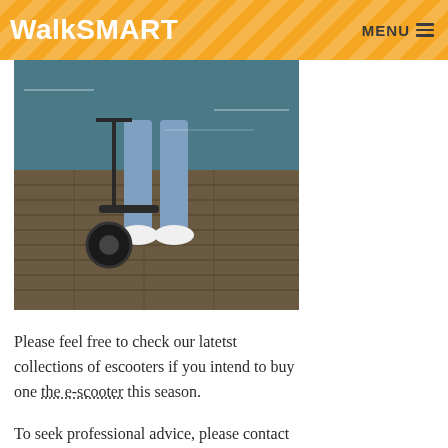WalkSMART   MENU
[Figure (photo): Person walking with an electric scooter on a wooden dock/boardwalk near water, wearing jeans and white sneakers, viewed from knees down.]
Please feel free to check our latetst collections of escooters if you intend to buy one the e-scooter this season.
To seek professional advice, please contact us by clicking on this link.
WalkSmart recommends that you check your local state laws and regulations in relation to using electric scooters in public